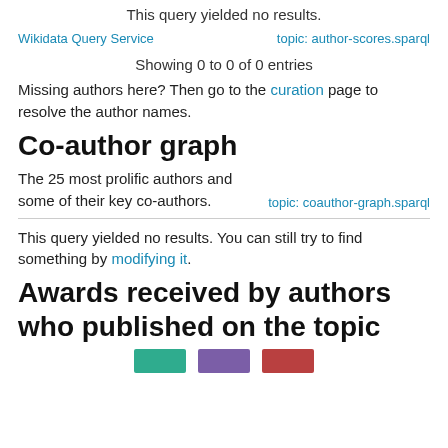This query yielded no results.
Wikidata Query Service    topic: author-scores.sparql
Showing 0 to 0 of 0 entries
Missing authors here? Then go to the curation page to resolve the author names.
Co-author graph
The 25 most prolific authors and some of their key co-authors.    topic: coauthor-graph.sparql
This query yielded no results. You can still try to find something by modifying it.
Awards received by authors who published on the topic
[Figure (other): Three colored boxes at bottom: teal, purple, dark red]